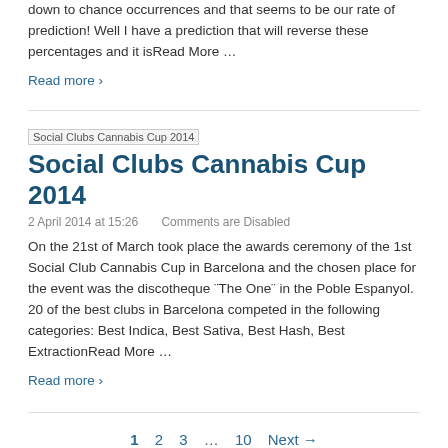down to chance occurrences and that seems to be our rate of prediction! Well I have a prediction that will reverse these percentages and it isRead More …
Read more ›
[Figure (other): Small thumbnail image placeholder labeled 'Social Clubs Cannabis Cup 2014']
Social Clubs Cannabis Cup 2014
2 April 2014 at 15:26    Comments are Disabled
On the 21st of March took place the awards ceremony of the 1st Social Club Cannabis Cup in Barcelona and the chosen place for the event was the discotheque ¨The One¨ in the Poble Espanyol. 20 of the best clubs in Barcelona competed in the following categories: Best Indica, Best Sativa, Best Hash, Best ExtractionRead More …
Read more ›
1   2   3   ...   10   Next →